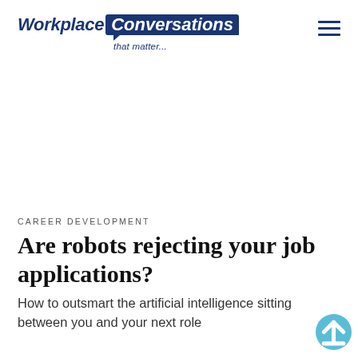Workplace Conversations that matter...
CAREER DEVELOPMENT
Are robots rejecting your job applications?
How to outsmart the artificial intelligence sitting between you and your next role